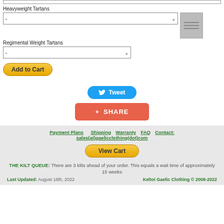Heavyweight Tartans
Regimental Weight Tartans
Add to Cart
[Figure (screenshot): Thumbnail image placeholder with three horizontal lines]
Tweet
+ SHARE
Payment Plans   Shipping   Warranty   FAQ   Contact: sales(at)gaelicclothing(dot)com
View Cart
THE KILT QUEUE: There are 3 kilts ahead of your order. This equals a wait time of approximately 15 weeks
Last Updated: August 18th, 2022    Keltoi Gaelic Clothing © 2008-2022